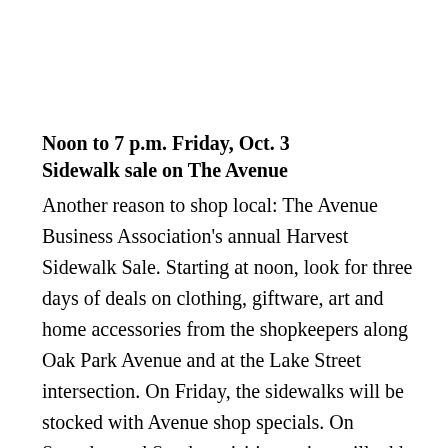Noon to 7 p.m. Friday, Oct. 3
Sidewalk sale on The Avenue
Another reason to shop local: The Avenue Business Association's annual Harvest Sidewalk Sale. Starting at noon, look for three days of deals on clothing, giftware, art and home accessories from the shopkeepers along Oak Park Avenue and at the Lake Street intersection. On Friday, the sidewalks will be stocked with Avenue shop specials. On Saturday and Sunday, visiting artists will add to the retail mix. This is the business district that includes such distinct shops as Botanica, Anana's, Filoni, Fly Bird and Chameleon and-for the non-